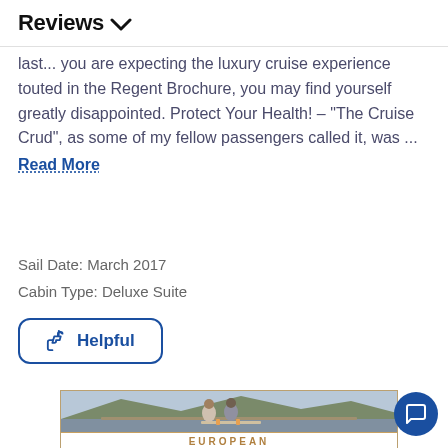Reviews ∨
last... you are expecting the luxury cruise experience touted in the Regent Brochure, you may find yourself greatly disappointed. Protect Your Health! – "The Cruise Crud", as some of my fellow passengers called it, was ...
Read More
Sail Date: March 2017
Cabin Type: Deluxe Suite
[Figure (other): Helpful button with thumbs up icon, rounded rectangle border in blue]
[Figure (photo): Advertisement image showing a couple sitting at an outdoor terrace with drinks, overlooking a Mediterranean coastal town. Below the photo is a partial text reading EUROPEAN in gold/bronze letters on white background.]